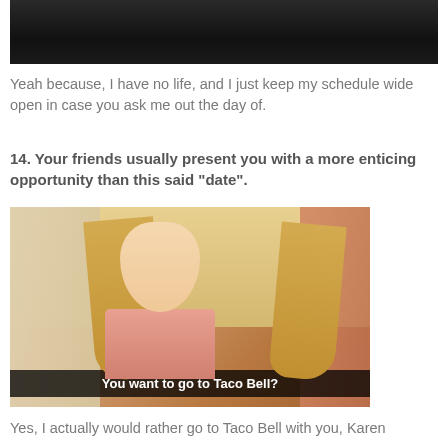[Figure (photo): Dark/shadowed photo cropped at top of page]
Yeah because, I have no life, and I just keep my schedule wide open in case you ask me out the day of.
14. Your friends usually present you with a more enticing opportunity than this said “date”.
[Figure (photo): GIF screenshot of a blonde girl with text subtitle 'You want to go to Taco Bell?']
Yes, I actually would rather go to Taco Bell with you, Karen